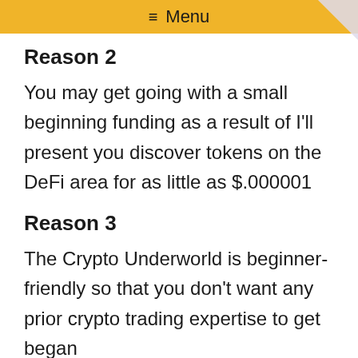≡ Menu
Reason 2
You may get going with a small beginning funding as a result of I'll present you discover tokens on the DeFi area for as little as $.000001
Reason 3
The Crypto Underworld is beginner-friendly so that you don't want any prior crypto trading expertise to get began
Reason 4